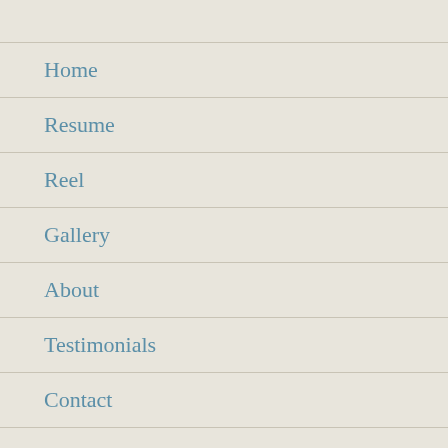Home
Resume
Reel
Gallery
About
Testimonials
Contact
Blog